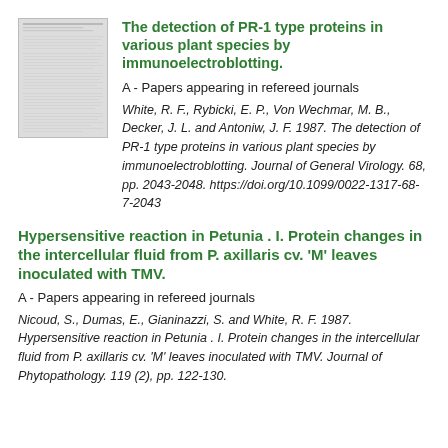[Figure (other): Thumbnail image of a document/paper page shown in grayscale]
The detection of PR-1 type proteins in various plant species by immunoelectroblotting.
A - Papers appearing in refereed journals
White, R. F., Rybicki, E. P., Von Wechmar, M. B., Decker, J. L. and Antoniw, J. F. 1987. The detection of PR-1 type proteins in various plant species by immunoelectroblotting. Journal of General Virology. 68, pp. 2043-2048. https://doi.org/10.1099/0022-1317-68-7-2043
Hypersensitive reaction in Petunia . I. Protein changes in the intercellular fluid from P. axillaris cv. 'M' leaves inoculated with TMV.
A - Papers appearing in refereed journals
Nicoud, S., Dumas, E., Gianinazzi, S. and White, R. F. 1987. Hypersensitive reaction in Petunia . I. Protein changes in the intercellular fluid from P. axillaris cv. 'M' leaves inoculated with TMV. Journal of Phytopathology. 119 (2), pp. 122-130.